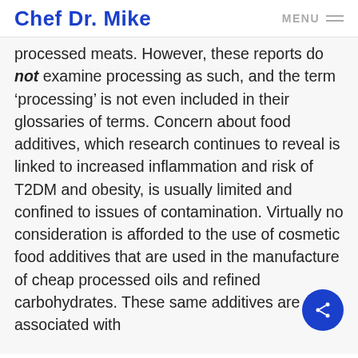Chef Dr. Mike   MENU
processed meats. However, these reports do not examine processing as such, and the term ‘processing’ is not even included in their glossaries of terms. Concern about food additives, which research continues to reveal is linked to increased inflammation and risk of T2DM and obesity, is usually limited and confined to issues of contamination. Virtually no consideration is afforded to the use of cosmetic food additives that are used in the manufacture of cheap processed oils and refined carbohydrates. These same additives are associated with